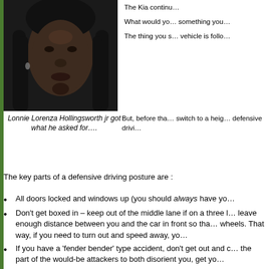[Figure (photo): Close-up photo of a man with dreadlocks, appearing to be a mugshot or arrest photo.]
Lonnie Lorenza Hollingsworth jr got what he asked for….
The Kia continu…
What would yo… something you…
The thing you s… vehicle is follo…
But, before tha… switch to a heig… defensive drivi…
The key parts of a defensive driving posture are :
All doors locked and windows up (you should always have yo…
Don't get boxed in – keep out of the middle lane if on a three l… leave enough distance between you and the car in front so tha… wheels.  That way, if you need to turn out and speed away, yo…
If you have a 'fender bender' type accident, don't get out and c… the part of the would-be attackers to both disorient you, get yo…